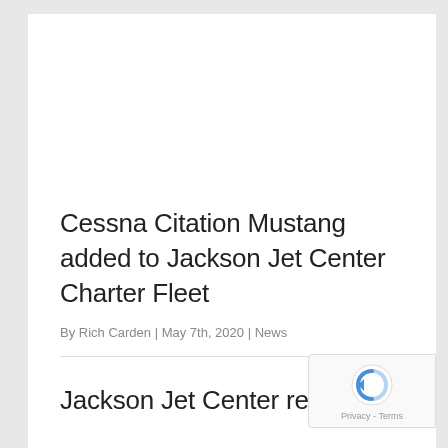Cessna Citation Mustang added to Jackson Jet Center Charter Fleet
By Rich Carden | May 7th, 2020 | News
Jackson Jet Center recently announced the addition of the